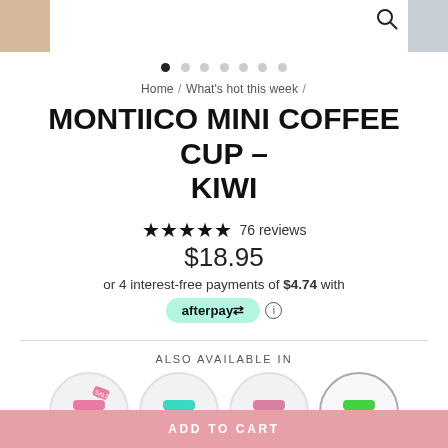Home / What's hot this week /
MONTIICO MINI COFFEE CUP – KIWI
★★★★★ 76 reviews
$18.95
or 4 interest-free payments of $4.74 with afterpay
ALSO AVAILABLE IN
[Figure (photo): Four circular variant swatches: pink cup, blue cup, purple cup, green/teal cup (selected)]
ADD TO CART